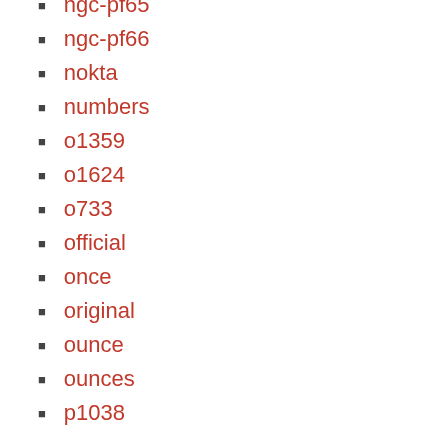ngc-pf65
ngc-pf66
nokta
numbers
o1359
o1624
o733
official
once
original
ounce
ounces
p1038